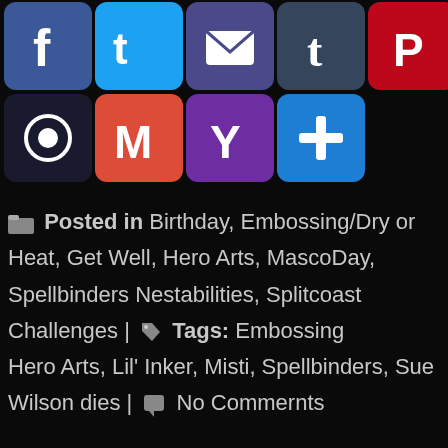[Figure (screenshot): Row of social media sharing icons including Facebook, Twitter, Gmail/email, Tumblr, Pinterest, a blue star icon, AOL, LinkedIn, a red K icon, an @ icon, and a grid icon]
[Figure (screenshot): Second row of social sharing icons: a dark circular icon, Gmail M icon (red), Yahoo Y icon (purple), and a blue plus/add icon]
Posted in Birthday, Embossing/Dry or Heat, Get Well, Hero Arts, Masc[ot] Day, Spellbinders Nestabilities, Splitcoast Challenges | Tags: Embossi[ng] Hero Arts, Lil' Inker, Misti, Spellbinders, Sue Wilson dies | No Commen[ts]